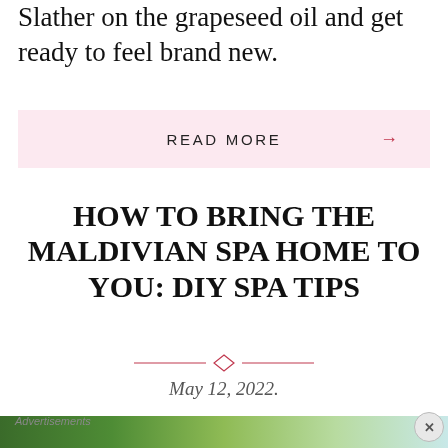Slather on the grapeseed oil and get ready to feel brand new.
READ MORE →
HOW TO BRING THE MALDIVIAN SPA HOME TO YOU: DIY SPA TIPS
May 12, 2022.
[Figure (illustration): Decorative diamond divider with pink horizontal lines]
[Figure (photo): Partial aerial photo of tropical greenery and blue water, with advertisement overlay and close button]
Advertisements